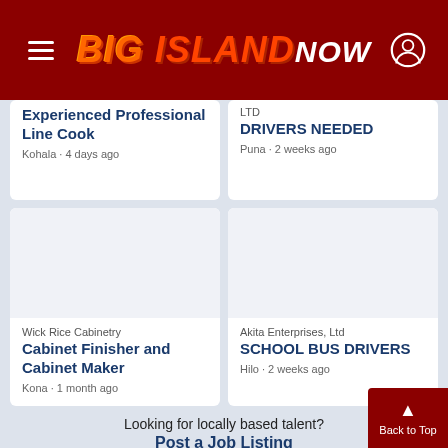BIG ISLAND NOW
Experienced Professional Line Cook · Kohala · 4 days ago
LTD · DRIVERS NEEDED · Puna · 2 weeks ago
Wick Rice Cabinetry · Cabinet Finisher and Cabinet Maker · Kona · 1 month ago
Akita Enterprises, Ltd · SCHOOL BUS DRIVERS · Hilo · 2 weeks ago
Looking for locally based talent?
Post a Job Listing